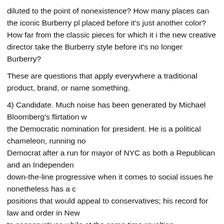diluted to the point of nonexistence? How many places can the iconic Burberry placed before it's just another color? How far from the classic pieces for which it the new creative director take the Burberry style before it's no longer Burberry?
These are questions that apply everywhere a traditional product, brand, or name something.
4) Candidate. Much noise has been generated by Michael Bloomberg's flirtation with the Democratic nomination for president. He is a political chameleon, running now as a Democrat after a run for mayor of NYC as both a Republican and an Independent. While down-the-line progressive when it comes to social issues he nonetheless has a certain positions that would appeal to conservatives; his record for law and order in New York to conservatives while at the same time revolting progressives due to the tactics used to achieve the goal. A billionaire many times over he seemed to find a balance in NY between promoting business and the creation of wealth while simultaneously protecting those at the bottom of the economic pile. As much as anyone in New York can, anyway. He likely will be bludgeoned in the primaries even though it is equally likely that he would win the general election in a landslide.
As interesting and intriguing as Mr. Bloomberg may be his potential entry into the race is one of the most interesting questions. Mr. Bloomberg within New York's...